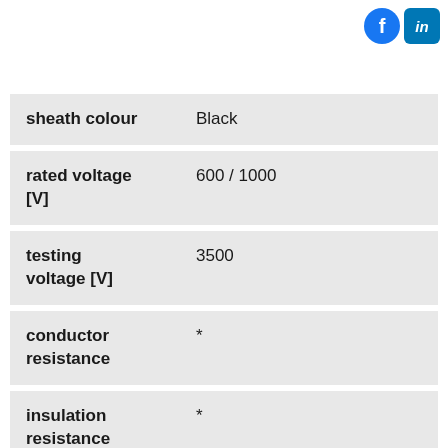[Figure (logo): Facebook and LinkedIn social media icons in top right corner]
| Property | Value |
| --- | --- |
| sheath colour | Black |
| rated voltage [V] | 600 / 1000 |
| testing voltage [V] | 3500 |
| conductor resistance | * |
| insulation resistance | * |